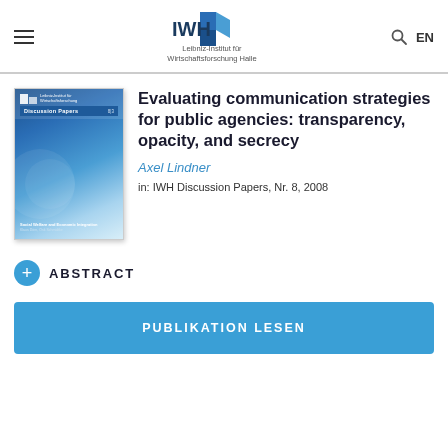IWH — Leibniz-Institut für Wirtschaftsforschung Halle | EN
[Figure (illustration): IWH Discussion Papers book cover with blue gradient background]
Evaluating communication strategies for public agencies: transparency, opacity, and secrecy
Axel Lindner
in: IWH Discussion Papers, Nr. 8, 2008
ABSTRACT
PUBLIKATION LESEN